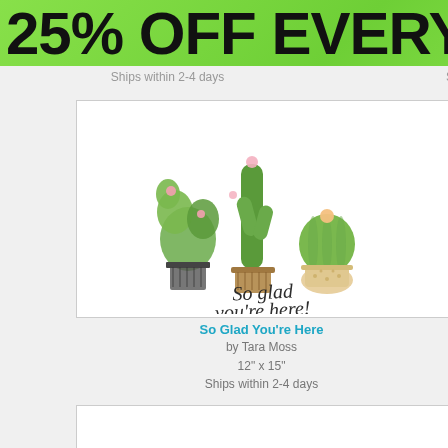25% OFF EVERYTH
Ships within 2-4 days  Ships within 2-4 days  S
[Figure (illustration): Watercolor cactus plants in pots with cursive text 'So glad you're here!']
[Figure (illustration): Watercolor floral antlers illustration — deer antlers with pink roses and green leaves]
[Figure (illustration): Partial view of a third product card on the right edge]
So Glad You're Here
by Tara Moss
12" x 15"
Ships within 2-4 days
Floral Antlers
by Tara Moss
12" x 15"
Ships within 2-4 days
Si
[Figure (illustration): Partial bottom card left — gold cursive text partially visible]
[Figure (illustration): Bottom center card — gold cursive text reads 'Here shbps a girl with a head full of…']
[Figure (illustration): Bottom right card partial view]